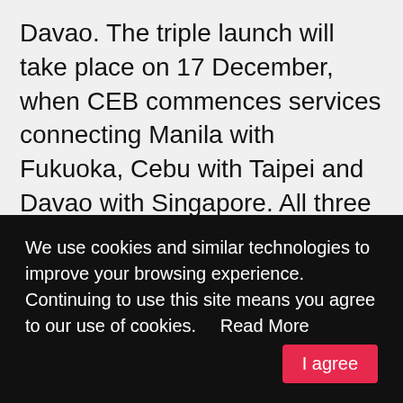Davao. The triple launch will take place on 17 December, when CEB commences services connecting Manila with Fukuoka, Cebu with Taipei and Davao with Singapore. All three routes will utilise A320 aircraft.
“We look forward to seeing the ‘Cebu Pacific effect’ in the new routes we will operate. We’ve seen time and again how connectivity and CEB’s trademark low fares stimulated travel,” said CEB’s vice president of
We use cookies and similar technologies to improve your browsing experience.
Continuing to use this site means you agree to our use of cookies.    Read More